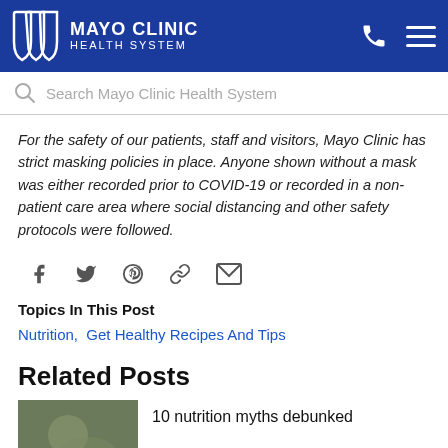[Figure (logo): Mayo Clinic Health System logo with shield icon and white text on blue background, phone and menu icons]
Search Mayo Clinic Health System
For the safety of our patients, staff and visitors, Mayo Clinic has strict masking policies in place. Anyone shown without a mask was either recorded prior to COVID-19 or recorded in a non-patient care area where social distancing and other safety protocols were followed.
[Figure (infographic): Social share icons: Facebook, Twitter, Pinterest, Link, Email]
Topics In This Post
Nutrition,  Get Healthy Recipes And Tips
Related Posts
10 nutrition myths debunked